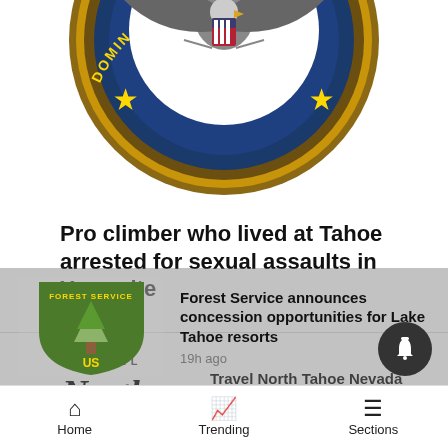[Figure (logo): US Department of Justice seal / emblem, circular, blue and gold, partially cropped at top of page]
Pro climber who lived at Tahoe arrested for sexual assaults in Yosemite
18h ago
[Figure (logo): Travel North Tahoe Nevada logo — stylized script 'North TAHOE' with 'TRAVEL' and 'NEVADA' in sans-serif]
Travel North Tahoe Nevada appoints Long as COO
19h ago
[Figure (logo): US Forest Service shield logo — green shield with tree and 'FOREST SERVICE US' text]
Forest Service announces concession opportunities for Lake Tahoe resorts
19h ago
Home   Trending   Sections